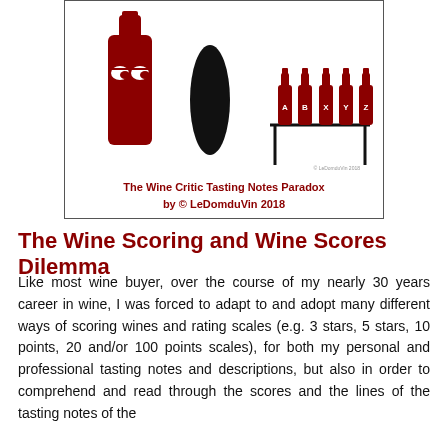[Figure (illustration): Cartoon illustration showing a red wine bottle character with eyes looking sideways at a black oval shape, and four red wine bottles labeled A, B, X, Y, Z on a table. The Wine Critic Tasting Notes Paradox illustration by LeDomduVin 2018.]
The Wine Critic Tasting Notes Paradox
by © LeDomduVin 2018
The Wine Scoring and Wine Scores Dilemma
Like most wine buyer, over the course of my nearly 30 years career in wine, I was forced to adapt to and adopt many different ways of scoring wines and rating scales (e.g. 3 stars, 5 stars, 10 points, 20 and/or 100 points scales), for both my personal and professional tasting notes and descriptions, but also in order to comprehend and read through the scores and the lines of the tasting notes of the